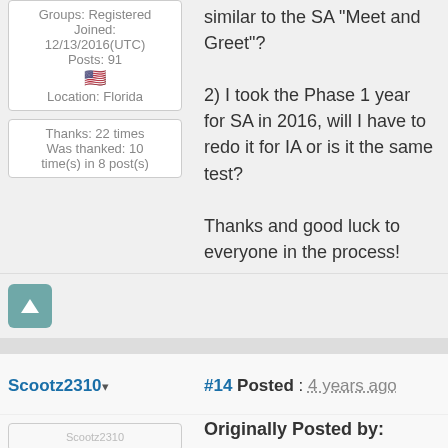Groups: Registered
Joined: 12/13/2016(UTC)
Posts: 91
Location: Florida
Thanks: 22 times
Was thanked: 10 time(s) in 8 post(s)
similar to the SA “Meet and Greet”?

2) I took the Phase 1 year for SA in 2016, will I have to redo it for IA or is it the same test?

Thanks and good luck to everyone in the process!
Scootz2310
#14 Posted : 4 years ago
Originally Posted by: